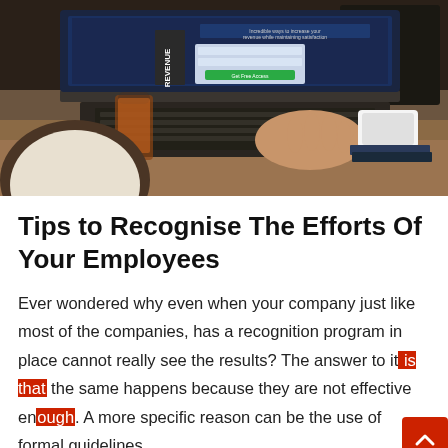[Figure (photo): Person typing on a laptop at a wooden desk. The laptop screen shows a dark blue webpage with text reading 'Incredible ways to increase your revenue while maintaining satisfaction' and a book titled 'REVENUE'. A glass of iced tea and a phone on books are visible.]
Tips to Recognise The Efforts Of Your Employees
Ever wondered why even when your company just like most of the companies, has a recognition program in place cannot really see the results? The answer to it is that the same happens because they are not effective enough. A more specific reason can be the use of formal guidelines